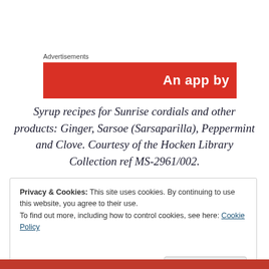Advertisements
[Figure (other): Red advertisement banner with white text reading 'An app by']
Syrup recipes for Sunrise cordials and other products: Ginger, Sarsoe (Sarsaparilla), Peppermint and Clove. Courtesy of the Hocken Library Collection ref MS-2961/002.
Privacy & Cookies: This site uses cookies. By continuing to use this website, you agree to their use.
To find out more, including how to control cookies, see here: Cookie Policy
Close and accept